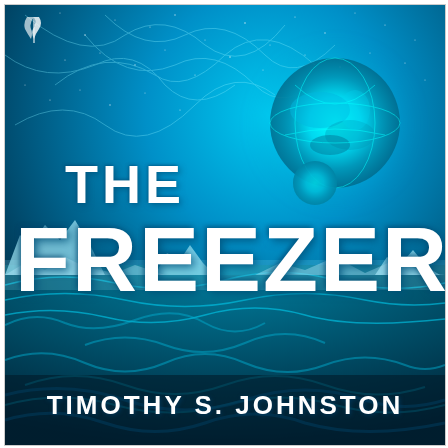[Figure (illustration): Book cover for 'The Freezer' by Timothy S. Johnston. Dark sci-fi/thriller cover with a deep blue-teal background showing a starry sky with glowing energy strands, a large glowing cyan planet in the upper right, icy arctic landscape with glaciers and churning water in the lower half, and a Carina Press publisher logo (crescent/feather symbol) in the upper left corner.]
THE FREEZER
TIMOTHY S. JOHNSTON